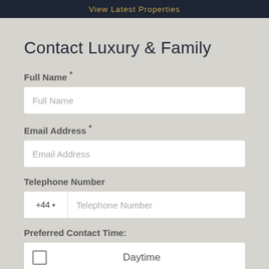View Latest Properties
Contact Luxury & Family
Full Name *
Full Name
Email Address *
Email Address
Telephone Number
+44 ▾   Telephone Number
Preferred Contact Time:
Daytime